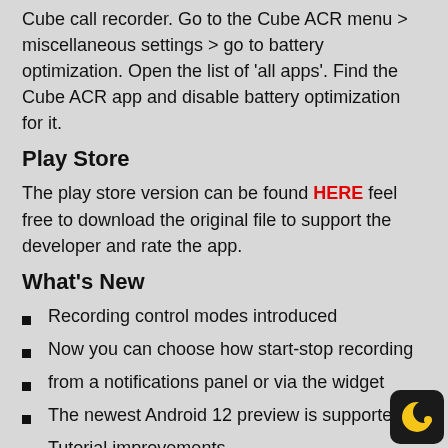Cube call recorder. Go to the Cube ACR menu > miscellaneous settings > go to battery optimization. Open the list of 'all apps'. Find the Cube ACR app and disable battery optimization for it.
Play Store
The play store version can be found HERE feel free to download the original file to support the developer and rate the app.
What's New
Recording control modes introduced
Now you can choose how start-stop recording
from a notifications panel or via the widget
The newest Android 12 preview is supported
Tutorial improvements